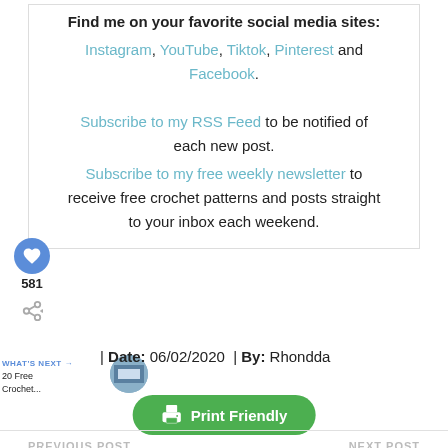Find me on your favorite social media sites:
Instagram, YouTube, Tiktok, Pinterest and Facebook.
Subscribe to my RSS Feed to be notified of each new post.
Subscribe to my free weekly newsletter to receive free crochet patterns and posts straight to your inbox each weekend.
| Date: 06/02/2020  | By: Rhondda
[Figure (other): Print Friendly button in green]
PREVIOUS POST   NEXT POST